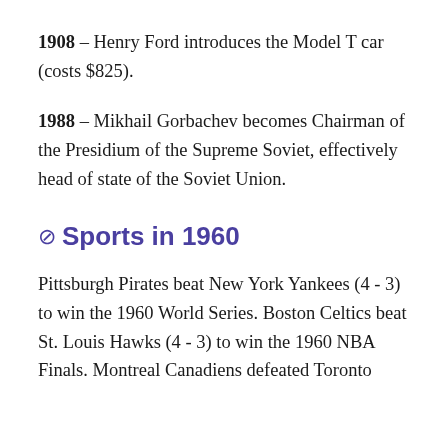1908 – Henry Ford introduces the Model T car (costs $825).
1988 – Mikhail Gorbachev becomes Chairman of the Presidium of the Supreme Soviet, effectively head of state of the Soviet Union.
Sports in 1960
Pittsburgh Pirates beat New York Yankees (4 - 3) to win the 1960 World Series. Boston Celtics beat St. Louis Hawks (4 - 3) to win the 1960 NBA Finals. Montreal Canadiens defeated Toronto